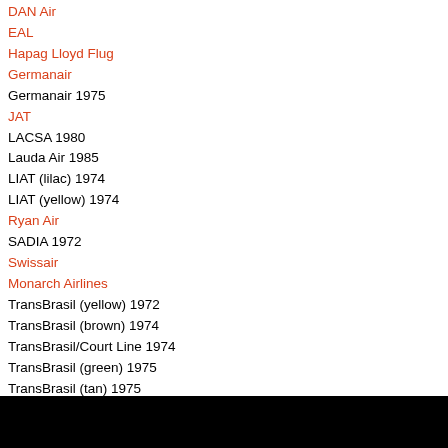DAN Air
EAL
Hapag Lloyd Flug
Germanair
Germanair 1975
JAT
LACSA 1980
Lauda Air 1985
LIAT (lilac) 1974
LIAT (yellow) 1974
Ryan Air
SADIA 1972
Swissair
Monarch Airlines
TransBrasil (yellow) 1972
TransBrasil (brown) 1974
TransBrasil/Court Line 1974
TransBrasil (green) 1975
TransBrasil (tan) 1975
TransBrasil (pink) 1976
TransBrasil (blue) 1977
PLEASE NOTE: All liveries listed "in red" are included within the "BAC ONE-ELEVEN 500" auto-installer aircraft base pack. All liveries listed "in black" are HJG produced textures for the "BAC ONE-ELEVEN 500" auto-installer aircraft base pack.